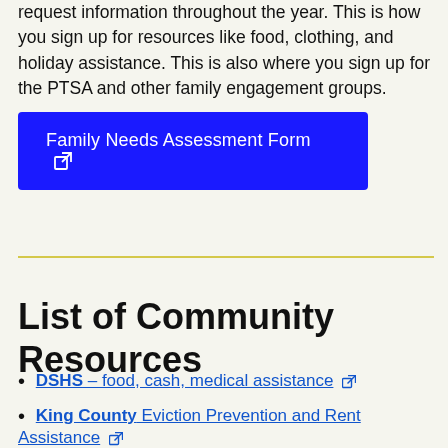request information throughout the year. This is how you sign up for resources like food, clothing, and holiday assistance. This is also where you sign up for the PTSA and other family engagement groups.
[Figure (other): Blue button labeled 'Family Needs Assessment Form' with external link icon]
List of Community Resources
DSHS – food, cash, medical assistance (external link)
King County Eviction Prevention and Rent Assistance (external link)